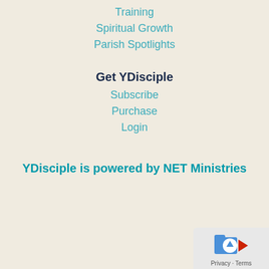Training
Spiritual Growth
Parish Spotlights
Get YDisciple
Subscribe
Purchase
Login
YDisciple is powered by NET Ministries